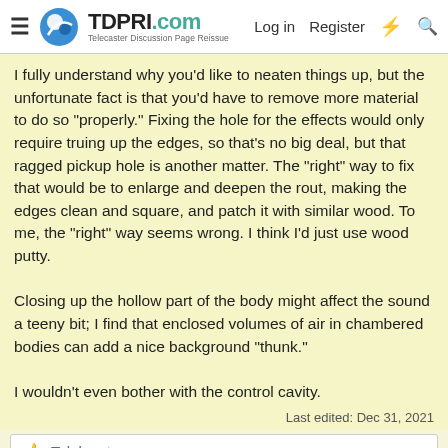TDPRI.com — Telecaster Discussion Page Reissue | Log in | Register
I fully understand why you'd like to neaten things up, but the unfortunate fact is that you'd have to remove more material to do so "properly." Fixing the hole for the effects would only require truing up the edges, so that's no big deal, but that ragged pickup hole is another matter. The "right" way to fix that would be to enlarge and deepen the rout, making the edges clean and square, and patch it with similar wood. To me, the "right" way seems wrong. I think I'd just use wood putty.

Closing up the hollow part of the body might affect the sound a teeny bit; I find that enclosed volumes of air in chambered bodies can add a nice background "thunk."

I wouldn't even bother with the control cavity.
Last edited: Dec 31, 2021
👍 Telekarster
Dec 31, 2021  #52